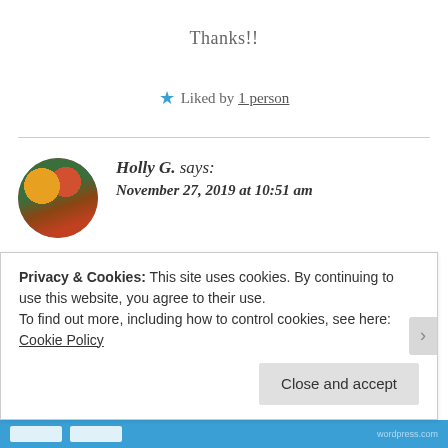Thanks!!
★ Liked by 1 person
Holly G. says:
November 27, 2019 at 10:51 am
I love this! Isn't it amazing how our little personalities are being developed even in the earliest years? We can see traits and abilities set
Privacy & Cookies: This site uses cookies. By continuing to use this website, you agree to their use.
To find out more, including how to control cookies, see here: Cookie Policy
Close and accept